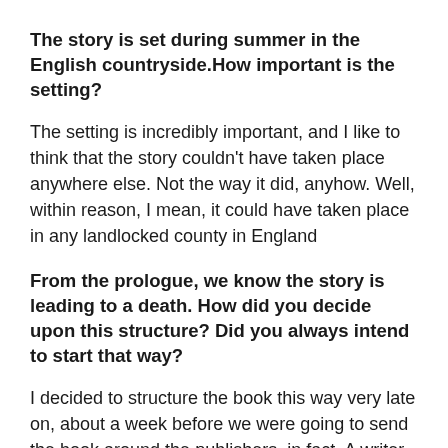The story is set during summer in the English countryside.How important is the setting?
The setting is incredibly important, and I like to think that the story couldn't have taken place anywhere else. Not the way it did, anyhow. Well, within reason, I mean, it could have taken place in any landlocked county in England
From the prologue, we know the story is leading to a death. How did you decide upon this structure? Did you always intend to start that way?
I decided to structure the book this way very late on, about a week before we were going to send the book around the publishers, in fact. A writer friend of mine made the suggestion on reading the manuscript, and I couldn't believe I hadn't thought of it myself. It seemed